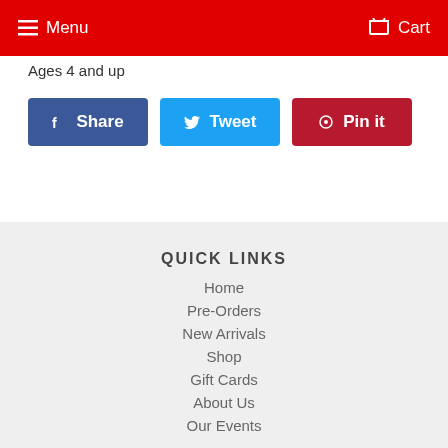Menu   Cart
Ages 4 and up
[Figure (other): Social sharing buttons: Share (Facebook), Tweet (Twitter), Pin it (Pinterest)]
QUICK LINKS
Home
Pre-Orders
New Arrivals
Shop
Gift Cards
About Us
Our Events